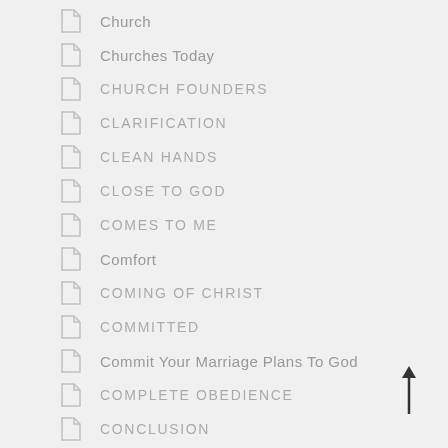Church
Churches Today
CHURCH FOUNDERS
CLARIFICATION
CLEAN HANDS
CLOSE TO GOD
COMES TO ME
Comfort
COMING OF CHRIST
COMMITTED
Commit Your Marriage Plans To God
COMPLETE OBEDIENCE
CONCLUSION
CONDEMNED